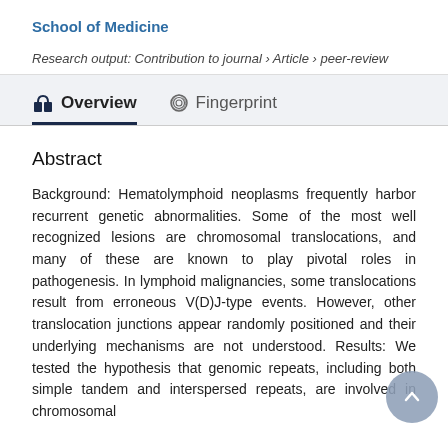School of Medicine
Research output: Contribution to journal › Article › peer-review
Overview
Fingerprint
Abstract
Background: Hematolymphoid neoplasms frequently harbor recurrent genetic abnormalities. Some of the most well recognized lesions are chromosomal translocations, and many of these are known to play pivotal roles in pathogenesis. In lymphoid malignancies, some translocations result from erroneous V(D)J-type events. However, other translocation junctions appear randomly positioned and their underlying mechanisms are not understood. Results: We tested the hypothesis that genomic repeats, including both simple tandem and interspersed repeats, are involved in chromosomal